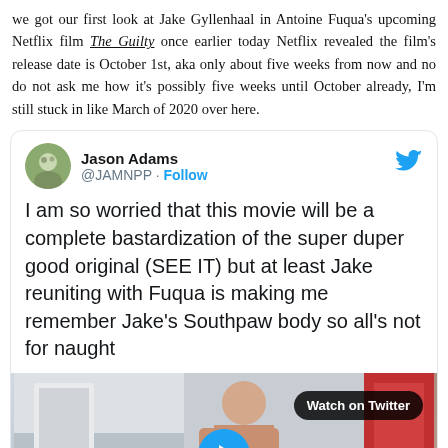we got our first look at Jake Gyllenhaal in Antoine Fuqua's upcoming Netflix film The Guilty once earlier today Netflix revealed the film's release date is October 1st, aka only about five weeks from now and no do not ask me how it's possibly five weeks until October already, I'm still stuck in like March of 2020 over here.
Jason Adams @JAMNPP · Follow
I am so worried that this movie will be a complete bastardization of the super duper good original (SEE IT) but at least Jake reuniting with Fuqua is making me remember Jake's Southpaw body so all's not for naught
[Figure (screenshot): Video thumbnail showing a shirtless muscular man in a boxing gym, with a Watch on Twitter badge and play button overlay]